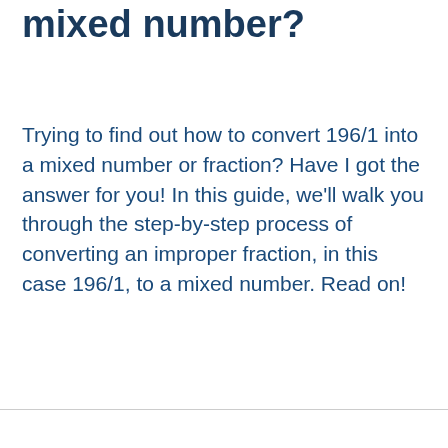mixed number?
Trying to find out how to convert 196/1 into a mixed number or fraction? Have I got the answer for you! In this guide, we'll walk you through the step-by-step process of converting an improper fraction, in this case 196/1, to a mixed number. Read on!